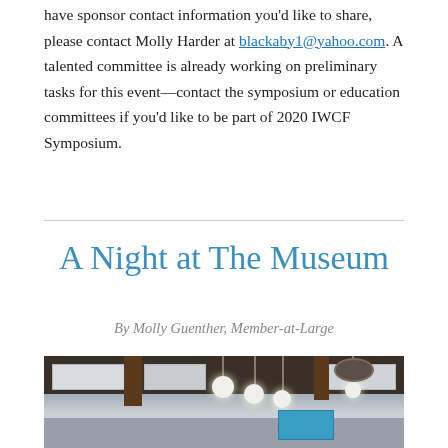have sponsor contact information you'd like to share, please contact Molly Harder at blackaby1@yahoo.com. A talented committee is already working on preliminary tasks for this event—contact the symposium or education committees if you'd like to be part of 2020 IWCF Symposium.
A Night at The Museum
By Molly Guenther, Member-at-Large
[Figure (photo): Interior photo of a museum or event hall with pendant lights hanging from a dark wood-beamed ceiling, white ceiling panels, and a projection screen visible in the background.]